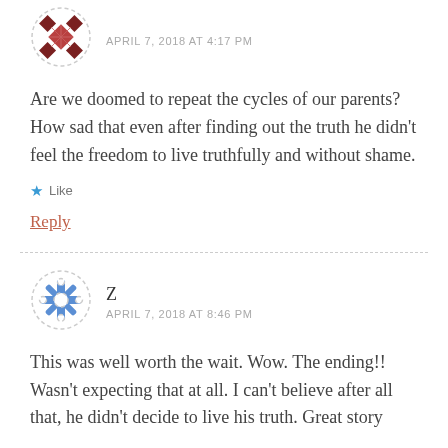[Figure (illustration): User avatar with brown/red diamond quilt pattern, circular with dashed border]
APRIL 7, 2018 AT 4:17 PM
Are we doomed to repeat the cycles of our parents? How sad that even after finding out the truth he didn't feel the freedom to live truthfully and without shame.
Like
Reply
[Figure (illustration): User avatar Z with blue snowflake/cross pattern, circular with dashed border]
Z
APRIL 7, 2018 AT 8:46 PM
This was well worth the wait. Wow. The ending!! Wasn't expecting that at all. I can't believe after all that, he didn't decide to live his truth. Great story